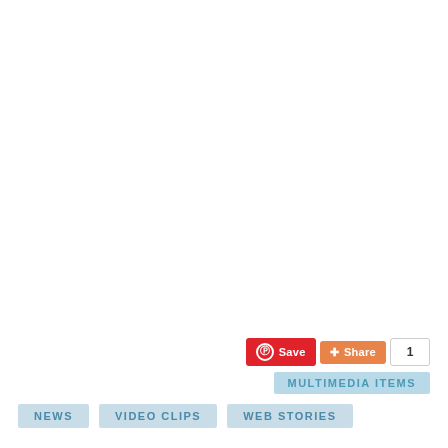[Figure (screenshot): Social sharing buttons: Pinterest Save button (red), Share button (orange), and count box showing 1. Below: MULTIMEDIA ITEMS label (light blue). Below: NEWS, VIDEO CLIPS, WEB STORIES tags (light blue).]